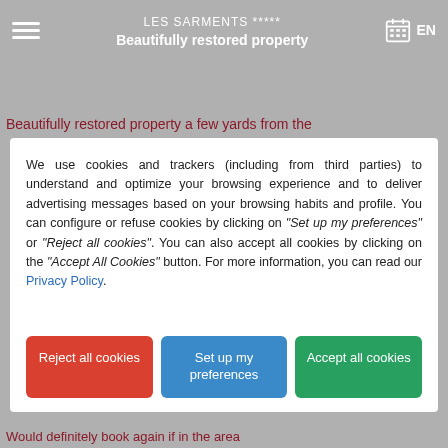Les Sarments ***** Beautifully restored property
Beautifully restored property a few yards from the
We use cookies and trackers (including from third parties) to understand and optimize your browsing experience and to deliver advertising messages based on your browsing habits and profile. You can configure or refuse cookies by clicking on "Set up my preferences" or "Reject all cookies". You can also accept all cookies by clicking on the "Accept All Cookies" button. For more information, you can read our Privacy Policy.
Reject all cookies | Set up my preferences | Accept all cookies
Would definitely book again if in the area